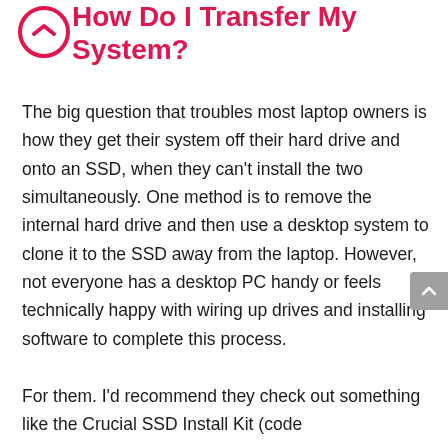How Do I Transfer My System?
The big question that troubles most laptop owners is how they get their system off their hard drive and onto an SSD, when they can't install the two simultaneously. One method is to remove the internal hard drive and then use a desktop system to clone it to the SSD away from the laptop. However, not everyone has a desktop PC handy or feels technically happy with wiring up drives and installing software to complete this process.
For them. I'd recommend they check out something like the Crucial SSD Install Kit (code